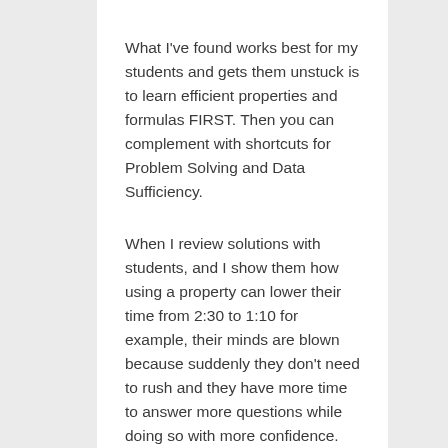What I've found works best for my students and gets them unstuck is to learn efficient properties and formulas FIRST. Then you can complement with shortcuts for Problem Solving and Data Sufficiency.
When I review solutions with students, and I show them how using a property can lower their time from 2:30 to 1:10 for example, their minds are blown because suddenly they don't need to rush and they have more time to answer more questions while doing so with more confidence.